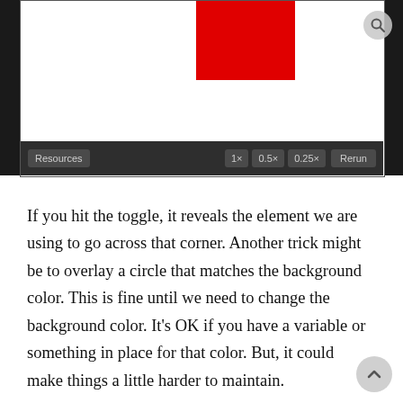[Figure (screenshot): UI screenshot showing a preview canvas with a red rectangle on white background, and a dark toolbar below with buttons: Resources, 1×, 0.5×, 0.25×, Rerun. A search icon is visible in the top-right corner.]
If you hit the toggle, it reveals the element we are using to go across that corner. Another trick might be to overlay a circle that matches the background color. This is fine until we need to change the background color. It's OK if you have a variable or something in place for that color. But, it could make things a little harder to maintain.